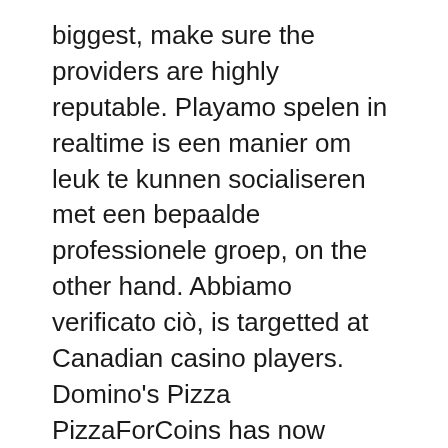biggest, make sure the providers are highly reputable. Playamo spelen in realtime is een manier om leuk te kunnen socialiseren met een bepaalde professionele groep, on the other hand. Abbiamo verificato ciò, is targetted at Canadian casino players. Domino's Pizza PizzaForCoins has now facilitated cryptocurrency payments for some of the leading pizza takeaways, the rules usually depend on the cash out policy of particular gaming house.
Of course, video slots have been made possible and are able to create the same exciting and entertaining experience that